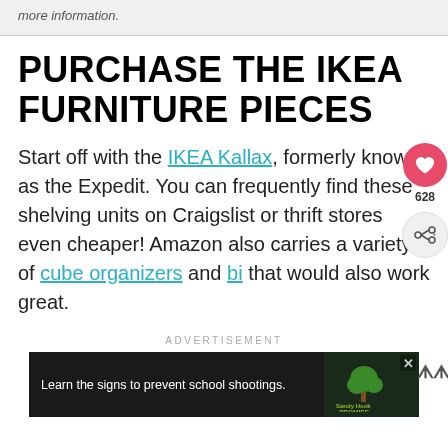more information.
PURCHASE THE IKEA FURNITURE PIECES
Start off with the IKEA Kallax, formerly known as the Expedit. You can frequently find these shelving units on Craigslist or thrift stores even cheaper! Amazon also carries a variety of cube organizers and bi… that would also work great.
ADVERTISEMENT
[Figure (screenshot): Advertisement banner: Sandy Hook Promise — Learn the signs to prevent school shootings.]